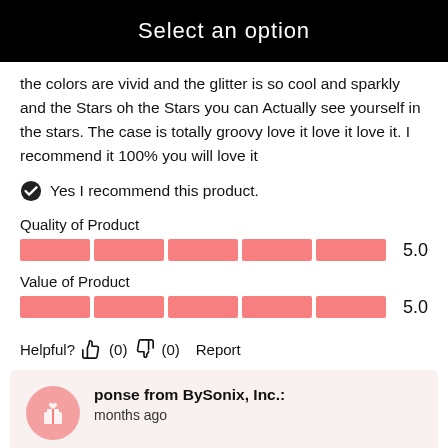Select an option
the colors are vivid and the glitter is so cool and sparkly and the Stars oh the Stars you can Actually see yourself in the stars. The case is totally groovy love it love it love it. I recommend it 100% you will love it
Yes I recommend this product.
Quality of Product
[Figure (bar-chart): Quality of Product rating]
Value of Product
[Figure (bar-chart): Value of Product rating]
Helpful? (0) (0) Report
ponse from BySonix, Inc.:
months ago